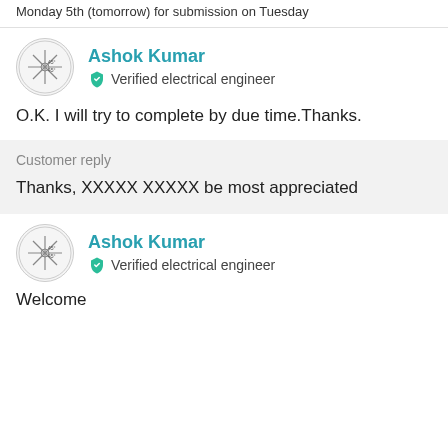Monday 5th (tomorrow) for submission on Tuesday
Ashok Kumar
Verified electrical engineer
O.K. I will try to complete by due time.Thanks.
Customer reply
Thanks, XXXXX XXXXX be most appreciated
Ashok Kumar
Verified electrical engineer
Welcome